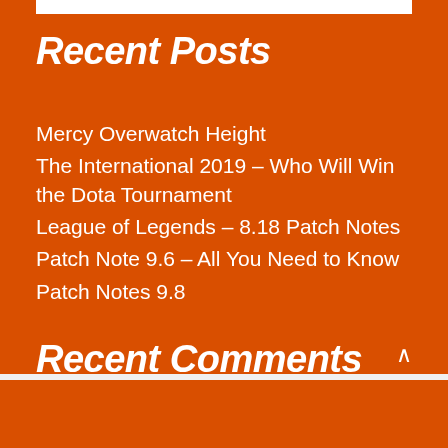Recent Posts
Mercy Overwatch Height
The International 2019 – Who Will Win the Dota Tournament
League of Legends – 8.18 Patch Notes
Patch Note 9.6 – All You Need to Know
Patch Notes 9.8
Recent Comments